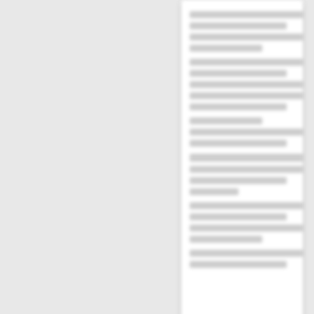[Figure (screenshot): Blurred document card showing lines of text, partially visible at top right of screen]
Ray, Henry - Age [Blank], Year: 1864 - 11th US Colored Heavy Artillery...
Carded Records Showing Military Service of Soldiers Who Fought in Volunteer Organizations During the American Civil War